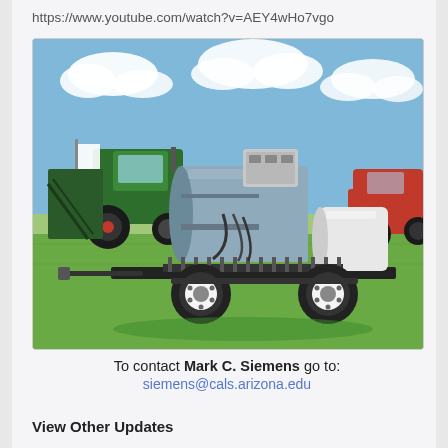https://www.youtube.com/watch?v=AEY4wHo7vgo
[Figure (photo): Agricultural sprayer/injection equipment on a trailer with two wheels, parked on green grass at an outdoor farm equipment exhibition. Green tractors and other farm machinery visible in background under a blue sky with clouds.]
To contact Mark C. Siemens go to:
siemens@cals.arizona.edu
View Other Updates